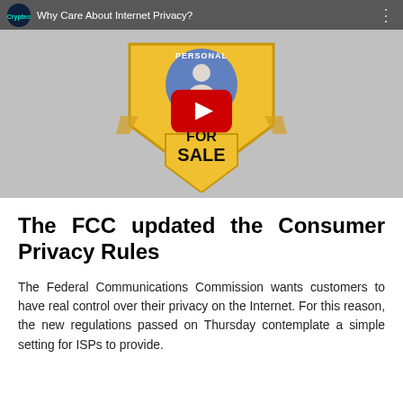[Figure (screenshot): YouTube video thumbnail showing a cartoon illustration of a yellow shield/badge with 'PERSONAL FOR SALE' text, a person silhouette in a blue circle at top, with a red YouTube play button overlay. The video is titled 'Why Care About Internet Privacy?' with a channel icon in the top bar.]
The FCC updated the Consumer Privacy Rules
The Federal Communications Commission wants customers to have real control over their privacy on the Internet. For this reason, the new regulations passed on Thursday contemplate a simple setting for ISPs to provide.